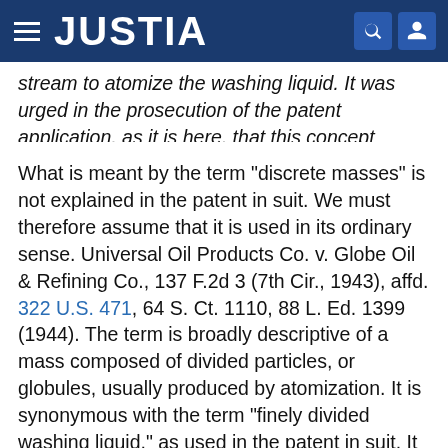JUSTIA
stream to atomize the washing liquid. It was urged in the prosecution of the patent application, as it is here, that this concept distinguished the methods of the patent from those of the prior art.
What is meant by the term "discrete masses" is not explained in the patent in suit. We must therefore assume that it is used in its ordinary sense. Universal Oil Products Co. v. Globe Oil & Refining Co., 137 F.2d 3 (7th Cir., 1943), affd. 322 U.S. 471, 64 S. Ct. 1110, 88 L. Ed. 1399 (1944). The term is broadly descriptive of a mass composed of divided particles, or globules, usually produced by atomization. It is synonymous with the term "finely divided washing liquid," as used in the patent in suit. It is synonymous also with variations of the term found in the prior art. The descriptive language employed by the patentees adds nothing to their claim to patentable invention.